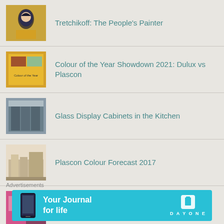Tretchikoff: The People's Painter
Colour of the Year Showdown 2021: Dulux vs Plascon
Glass Display Cabinets in the Kitchen
Plascon Colour Forecast 2017
A Bohemian History
Quick Tips #3 & #4: Removing Pen & Ink
Advertisements
[Figure (infographic): Day One app advertisement banner: 'Your Journal for life' with phone graphic and Day One logo on cyan/blue background]